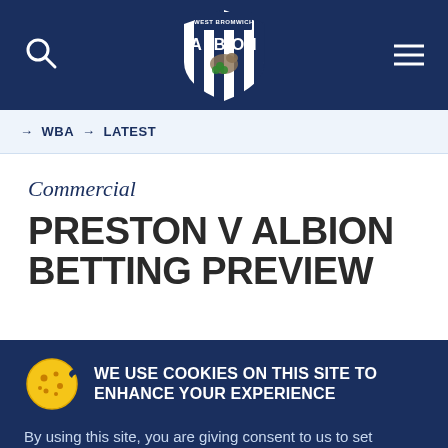West Bromwich Albion website header with search icon, club badge/crest, and menu icon
→ WBA → LATEST
Commercial
PRESTON V ALBION BETTING PREVIEW
WE USE COOKIES ON THIS SITE TO ENHANCE YOUR EXPERIENCE
By using this site, you are giving consent to us to set cookies.